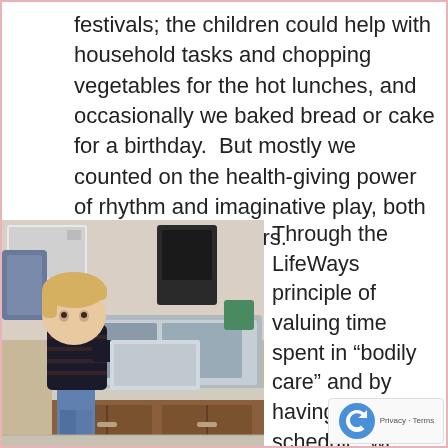festivals; the children could help with household tasks and chopping vegetables for the hot lunches, and occasionally we baked bread or cake for a birthday.  But mostly we counted on the health-giving power of rhythm and imaginative play, both indoors and outdoors.
[Figure (photo): A young toddler with blonde hair wearing a dark striped shirt and jeans standing at a kitchen counter/sink, reaching toward the sink basin. Kitchen cabinets visible below and kitchen appliances in background.]
Through the LifeWays principle of valuing time spent in “bodily care” and by having a simpler schedule, we adults were much more relaxed and available fo children.  The younger the